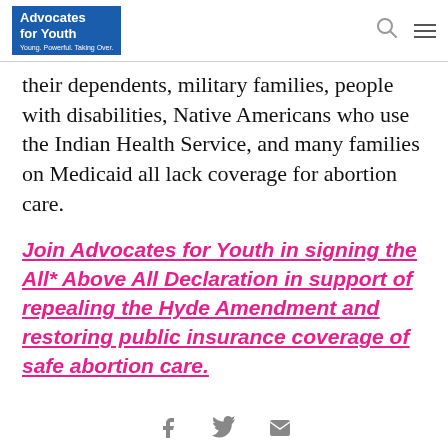Advocates for Youth — Young. Powerful. Taking Over.
their dependents, military families, people with disabilities, Native Americans who use the Indian Health Service, and many families on Medicaid all lack coverage for abortion care.
Join Advocates for Youth in signing the All* Above All Declaration in support of repealing the Hyde Amendment and restoring public insurance coverage of safe abortion care.
Social share icons: Facebook, Twitter, Email